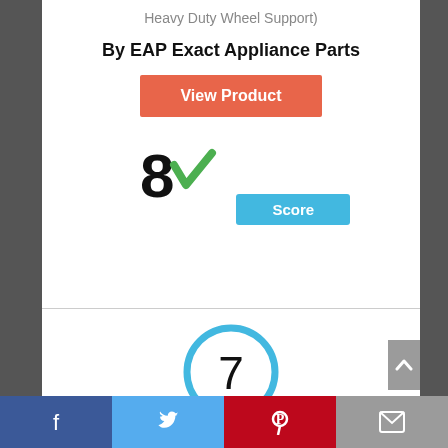Heavy Duty Wheel Support)
By EAP Exact Appliance Parts
View Product
[Figure (infographic): Score badge showing '8' with a green check mark and a blue 'Score' label below]
[Figure (infographic): Circle badge with number 7 inside, blue stroke outline]
[Figure (infographic): Social share footer bar with Facebook, Twitter, Pinterest, and Email icons]